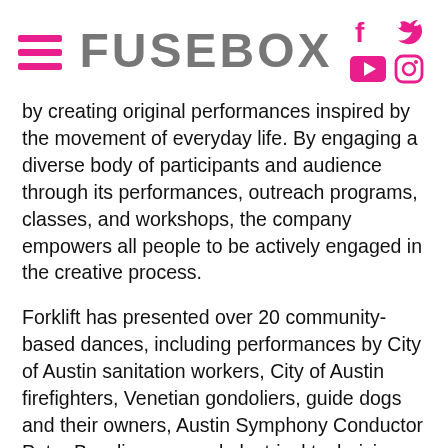FUSEBOX
by creating original performances inspired by the movement of everyday life. By engaging a diverse body of participants and audience through its performances, outreach programs, classes, and workshops, the company empowers all people to be actively engaged in the creative process.
Forklift has presented over 20 community-based dances, including performances by City of Austin sanitation workers, City of Austin firefighters, Venetian gondoliers, guide dogs and their owners, Austin Symphony Conductor Peter Bay, linemen and electrical technicians from Austin Energy, and most recently members of the The Japanese Women's Baseball League. Forklift challenges audiences to expand notions of dance and performer while posing the question: who and what can be presented on stage? Uncovering that which is